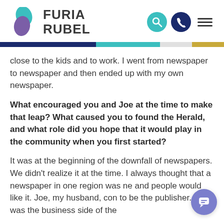[Figure (logo): Furia Rubel logo with teal and purple overlapping leaf/teardrop shapes, with text FURIA RUBEL beside them, and navigation icons (search, phone, menu) on the right]
close to the kids and to work. I went from newspaper to newspaper and then ended up with my own newspaper.
What encouraged you and Joe at the time to make that leap? What caused you to found the Herald, and what role did you hope that it would play in the community when you first started?
It was at the beginning of the downfall of newspapers. We didn’t realize it at the time. I always thought that a newspaper in one region was ne and people would like it. Joe, my husband, con to be the publisher. He was the business side of the